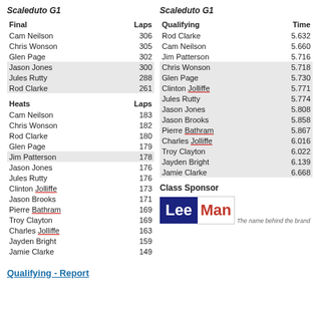Scaleduto G1
Scaleduto G1
| Final | Laps |
| --- | --- |
| Cam Neilson | 306 |
| Chris Wonson | 305 |
| Glen Page | 302 |
| Jason Jones | 300 |
| Jules Rutty | 288 |
| Rod Clarke | 261 |
| Heats | Laps |
| --- | --- |
| Cam Neilson | 183 |
| Chris Wonson | 182 |
| Rod Clarke | 180 |
| Glen Page | 179 |
| Jim Patterson | 178 |
| Jason Jones | 176 |
| Jules Rutty | 176 |
| Clinton Jolliffe | 173 |
| Jason Brooks | 171 |
| Pierre Bathram | 169 |
| Troy Clayton | 169 |
| Charles Jolliffe | 163 |
| Jayden Bright | 159 |
| Jamie Clarke | 149 |
| Qualifying | Time |
| --- | --- |
| Rod Clarke | 5.632 |
| Cam Neilson | 5.660 |
| Jim Patterson | 5.716 |
| Chris Wonson | 5.718 |
| Glen Page | 5.730 |
| Clinton Jolliffe | 5.771 |
| Jules Rutty | 5.774 |
| Jason Jones | 5.808 |
| Jason Brooks | 5.858 |
| Pierre Bathram | 5.867 |
| Charles Jolliffe | 6.016 |
| Troy Clayton | 6.022 |
| Jayden Bright | 6.139 |
| Jamie Clarke | 6.668 |
Class Sponsor
[Figure (logo): LeeMAN logo with dark blue box containing 'Lee' in white and 'Man' in red, tagline: The name behind the brand]
Qualifying - Report